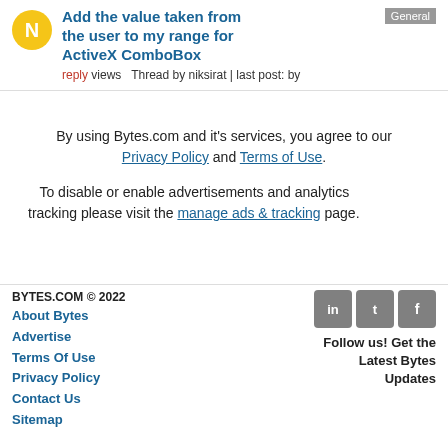Add the value taken from the user to my range for ActiveX ComboBox
reply views  Thread by niksirat | last post: by
By using Bytes.com and it's services, you agree to our Privacy Policy and Terms of Use.
To disable or enable advertisements and analytics tracking please visit the manage ads & tracking page.
BYTES.COM © 2022
About Bytes
Advertise
Terms Of Use
Privacy Policy
Contact Us
Sitemap
Follow us! Get the Latest Bytes Updates